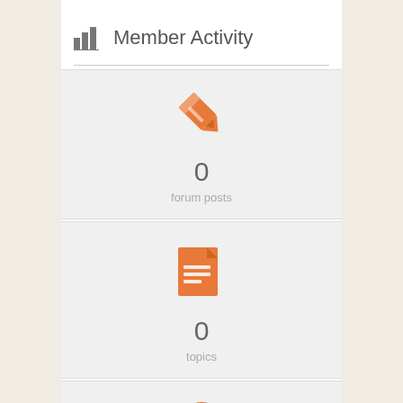Member Activity
[Figure (infographic): Orange pencil icon for forum posts]
0
forum posts
[Figure (infographic): Orange document/file icon for topics]
0
topics
[Figure (infographic): Orange question mark icon]
0